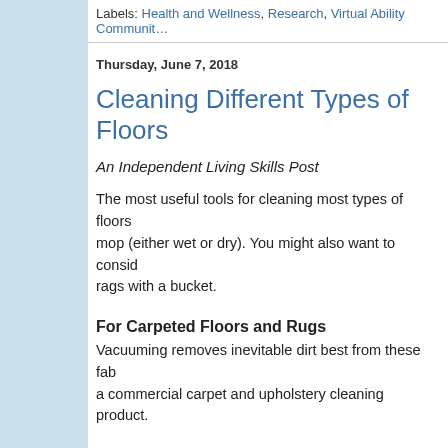Labels: Health and Wellness, Research, Virtual Ability Communit…
Thursday, June 7, 2018
Cleaning Different Types of Floors
An Independent Living Skills Post
The most useful tools for cleaning most types of floors… mop (either wet or dry). You might also want to consider… rags with a bucket.
For Carpeted Floors and Rugs
Vacuuming removes inevitable dirt best from these fab… a commercial carpet and upholstery cleaning product.
For Wood Floors
Proper cleaning of wood floors depends on their surface treatment. Are they surface-
[Figure (photo): Photo of a wood-floored room interior]